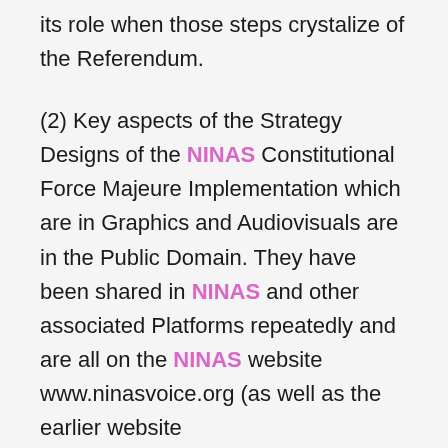its role when those steps crystalize of the Referendum.
(2) Key aspects of the Strategy Designs of the NINAS Constitutional Force Majeure Implementation which are in Graphics and Audiovisuals are in the Public Domain. They have been shared in NINAS and other associated Platforms repeatedly and are all on the NINAS website www.ninasvoice.org (as well as the earlier website www.freedomfromnigeria.com)